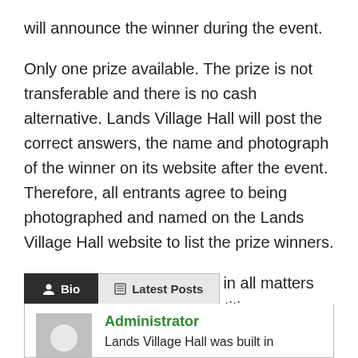will announce the winner during the event.
Only one prize available. The prize is not transferable and there is no cash alternative. Lands Village Hall will post the correct answers, the name and photograph of the winner on its website after the event. Therefore, all entrants agree to being photographed and named on the Lands Village Hall website to list the prize winners.
The judges’ decision is final in all matters related to the event’s competitions.
[Figure (screenshot): Bio and Latest Posts tab UI widget with Administrator profile card showing avatar placeholder and partial text 'Lands Village Hall was built in']